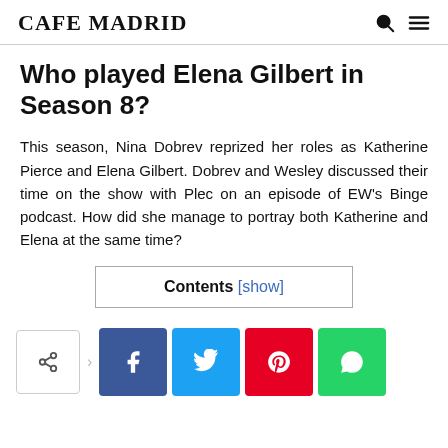CAFE MADRID
Who played Elena Gilbert in Season 8?
This season, Nina Dobrev reprized her roles as Katherine Pierce and Elena Gilbert. Dobrev and Wesley discussed their time on the show with Plec on an episode of EW’s Binge podcast. How did she manage to portray both Katherine and Elena at the same time?
Contents [show]
[Figure (other): Social share bar with share icon, Facebook, Twitter, Pinterest, and WhatsApp buttons]